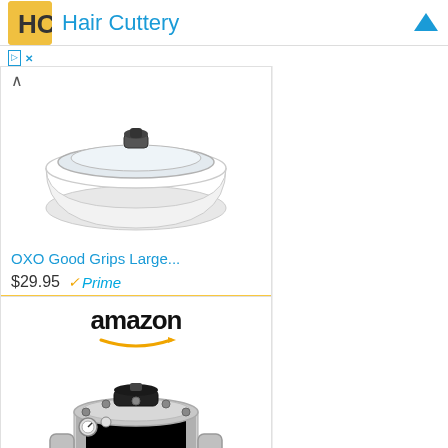Hair Cuttery
[Figure (screenshot): Amazon product ad card 1: OXO Good Grips Large... $29.95 Prime, Shop now button]
[Figure (screenshot): Amazon product ad card 2: All American 1930 - 21.5qt...]